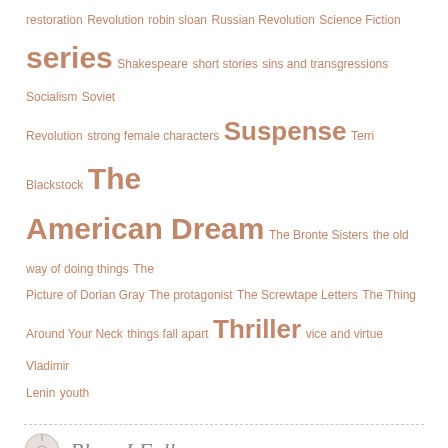restoration Revolution robin sloan Russian Revolution Science Fiction series Shakespeare short stories sins and transgressions Socialism Soviet Revolution strong female characters Suspense Terri Blackstock The American Dream The Bronte Sisters the old way of doing things The Picture of Dorian Gray The protagonist The Screwtape Letters The Thing Around Your Neck things fall apart Thriller vice and virtue Vladimir Lenin youth
Blogs I Follow
Hannes van Eeden